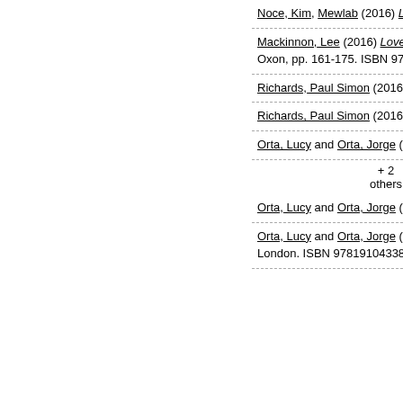Noce, Kim, Mewlab (2016) Love in Id…
Mackinnon, Lee (2016) Love's Algorit… Oxon, pp. 161-175. ISBN 978-1-138-8…
Richards, Paul Simon (2016) Love's P…
Richards, Paul Simon (2016) Love's P…
Orta, Lucy and Orta, Jorge (2016) Lu…
+ 2 others
Orta, Lucy and Orta, Jorge (2016) Lu…
Orta, Lucy and Orta, Jorge (2016) Lu… London. ISBN 9781910433805